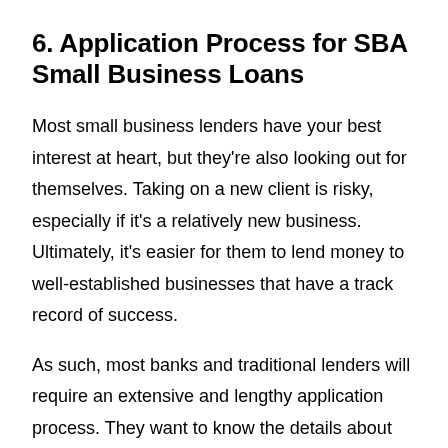6. Application Process for SBA Small Business Loans
Most small business lenders have your best interest at heart, but they're also looking out for themselves. Taking on a new client is risky, especially if it's a relatively new business. Ultimately, it's easier for them to lend money to well-established businesses that have a track record of success.
As such, most banks and traditional lenders will require an extensive and lengthy application process. They want to know the details about your financial stability and your potential for success.